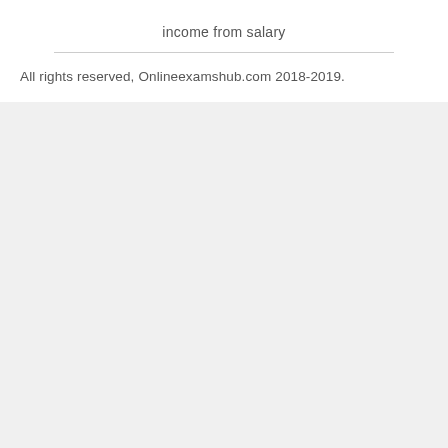income from salary
All rights reserved, Onlineexamshub.com 2018-2019.